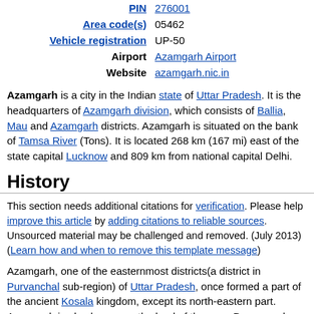| Field | Value |
| --- | --- |
| PIN | 276001 |
| Area code(s) | 05462 |
| Vehicle registration | UP-50 |
| Airport | Azamgarh Airport |
| Website | azamgarh.nic.in |
Azamgarh is a city in the Indian state of Uttar Pradesh. It is the headquarters of Azamgarh division, which consists of Ballia, Mau and Azamgarh districts. Azamgarh is situated on the bank of Tamsa River (Tons). It is located 268 km (167 mi) east of the state capital Lucknow and 809 km from national capital Delhi.
History
This section needs additional citations for verification. Please help improve this article by adding citations to reliable sources. Unsourced material may be challenged and removed. (July 2013) (Learn how and when to remove this template message)
Azamgarh, one of the easternmost districts(a district in Purvanchal sub-region) of Uttar Pradesh, once formed a part of the ancient Kosala kingdom, except its north-eastern part. Azamgarh is also known as the land of the sage Durvasa whose ashram was located